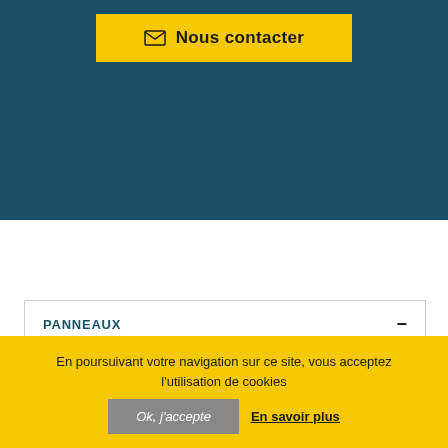[Figure (screenshot): Dark teal hero/banner area with a yellow 'Nous contacter' button (contact us) with envelope icon, on a dark blue-teal background]
PANNEAUX
Agglomérés
En poursuivant votre navigation sur ce site, vous acceptez l'utilisation de cookies   Ok, j'accepte   En savoir plus